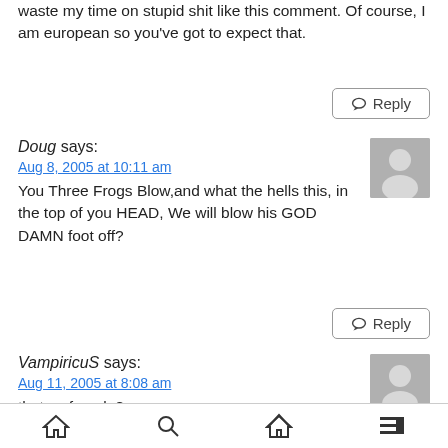waste my time on stupid shit like this comment. Of course, I am european so you've got to expect that.
↩ Reply
Doug says:
Aug 8, 2005 at 10:11 am
You Three Frogs Blow,and what the hells this, in the top of you HEAD, We will blow his GOD DAMN foot off?
↩ Reply
VampiricuS says:
Aug 11, 2005 at 8:08 am
thats a female?
=========from MasaManiA
home search upload list